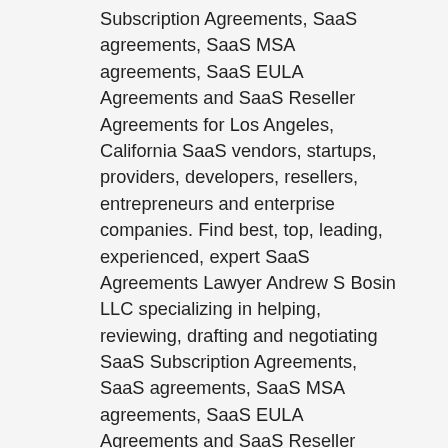Subscription Agreements, SaaS agreements, SaaS MSA agreements, SaaS EULA Agreements and SaaS Reseller Agreements for Los Angeles, California SaaS vendors, startups, providers, developers, resellers, entrepreneurs and enterprise companies. Find best, top, leading, experienced, expert SaaS Agreements Lawyer Andrew S Bosin LLC specializing in helping, reviewing, drafting and negotiating SaaS Subscription Agreements, SaaS agreements, SaaS MSA agreements, SaaS EULA Agreements and SaaS Reseller Agreements for Silicon Valley SaaS vendors, startups, providers, developers, resellers, entrepreneurs and enterprise companies. Find best, top, leading, experienced, expert SaaS Agreements Lawyer Andrew S Bosin LLC specializing in helping, reviewing, drafting and negotiating SaaS Subscription Agreements, SaaS agreements, SaaS MSA agreements, SaaS EULA Agreements and SaaS Reseller Agreements for Oklahoma City SaaS vendors, startups, providers, developers, resellers, entrepreneurs and enterprise companies. Find best, top, leading, experienced, expert